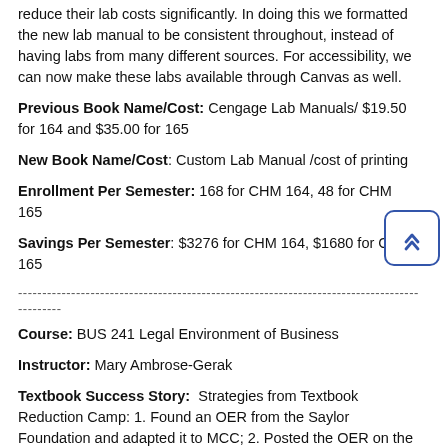reduce their lab costs significantly. In doing this we formatted the new lab manual to be consistent throughout, instead of having labs from many different sources. For accessibility, we can now make these labs available through Canvas as well.
Previous Book Name/Cost: Cengage Lab Manuals/ $19.50 for 164 and $35.00 for 165
New Book Name/Cost: Custom Lab Manual /cost of printing
Enrollment Per Semester: 168 for CHM 164, 48 for CHM 165
Savings Per Semester: $3276 for CHM 164, $1680 for CHM 165
--------------------------------------------------------------------------------------------
Course: BUS 241 Legal Environment of Business
Instructor: Mary Ambrose-Gerak
Textbook Success Story: Strategies from Textbook Reduction Camp: 1. Found an OER from the Saylor Foundation and adapted it to MCC; 2. Posted the OER on the Master Shell in the Files/hdrive for their use or for them to download. 3. Found resources that are in the public domain or we have reviewed and worked through licensing issues.4. Uploaded and edited current assignments, MC videos, resources, lecture notes, quizzes